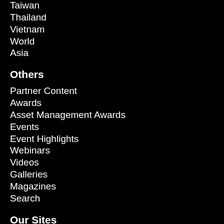Taiwan
Thailand
Vietnam
World
Asia
Others
Partner Content
Awards
Asset Management Awards
Events
Event Highlights
Webinars
Videos
Galleries
Magazines
Search
Our Sites